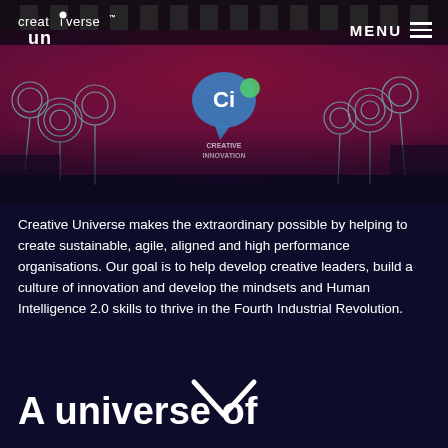[Figure (photo): Hero image of a stage event with purple and red lighting, floral illustrations overlaid, and a 'Creative Innovation' logo/sign visible in the background]
creativerse™  MENU
A universe of
Creative Universe makes the extraordinary possible by helping to create sustainable, agile, aligned and high performance organisations. Our goal is to help develop creative leaders, build a culture of innovation and develop the mindsets and Human Intelligence 2.0 skills to thrive in the Fourth Industrial Revolution.